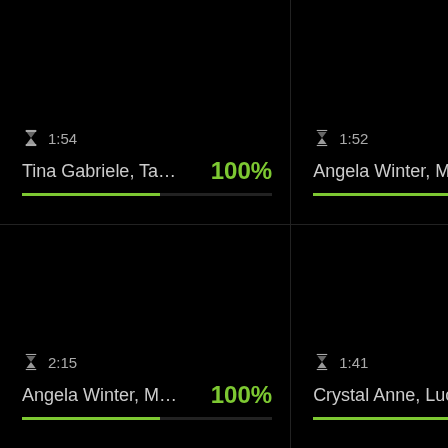⌛ 1:54 | Tina Gabriele, Tammy... 100%
⌛ 1:52 | Angela Winter, Mugur... 100%
⌛ 2:15 | Angela Winter, Mugur... 100%
⌛ 1:41 | Crystal Anne, Lucy, M... 100%